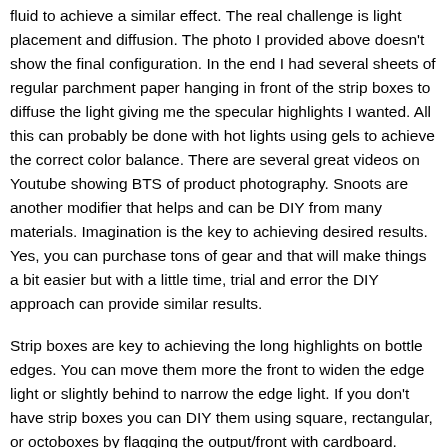fluid to achieve a similar effect. The real challenge is light placement and diffusion. The photo I provided above doesn't show the final configuration. In the end I had several sheets of regular parchment paper hanging in front of the strip boxes to diffuse the light giving me the specular highlights I wanted. All this can probably be done with hot lights using gels to achieve the correct color balance. There are several great videos on Youtube showing BTS of product photography. Snoots are another modifier that helps and can be DIY from many materials. Imagination is the key to achieving desired results. Yes, you can purchase tons of gear and that will make things a bit easier but with a little time, trial and error the DIY approach can provide similar results.
Strip boxes are key to achieving the long highlights on bottle edges. You can move them more the front to widen the edge light or slightly behind to narrow the edge light. If you don't have strip boxes you can DIY them using square, rectangular, or octoboxes by flagging the output/front with cardboard.
Additionally, you really need to understand your camera and how to control light (both ambient and strobe) in manual mode. A solid tripod is a must and once you have the scene composed with camera settings locked, a remote trigger really helps out. Then it's just adjust lights/reflectors and check results.